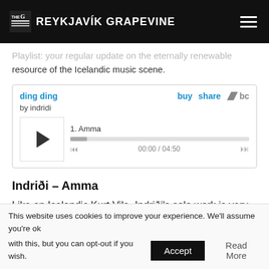THE G REYKJAVÍK GRAPEVINE
Playlist: your regular update on the eternally renewable resource of the Icelandic music scene.
[Figure (other): Bandcamp embedded music player widget showing 'ding ding by indridi', track 1 Amma, time 00:00 / 04:50]
Indriði – Amma
Like an Icelandic Kurt Vile, Indriði's solo work is very different to the aggressive metal he makes as part of Muck. He drawls his way through the melodious,
This website uses cookies to improve your experience. We'll assume you're ok with this, but you can opt-out if you wish.